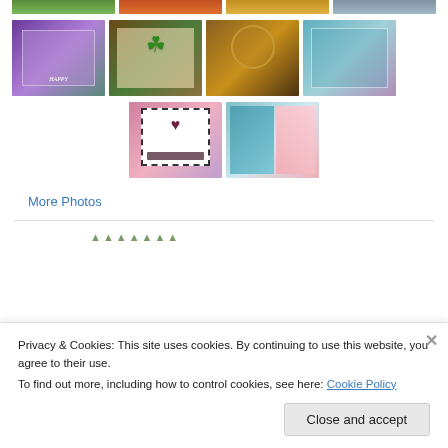[Figure (photo): Row of four partially visible handmade greeting card thumbnails at top]
[Figure (photo): Grid of four handmade greeting card photos: purple happy card, green shamrock card, dreamcatcher card, teal floral card]
[Figure (photo): Two handmade greeting card photos: pink heart stamp card, teal patterned notebook]
More Photos
Privacy & Cookies: This site uses cookies. By continuing to use this website, you agree to their use.
To find out more, including how to control cookies, see here: Cookie Policy
Close and accept